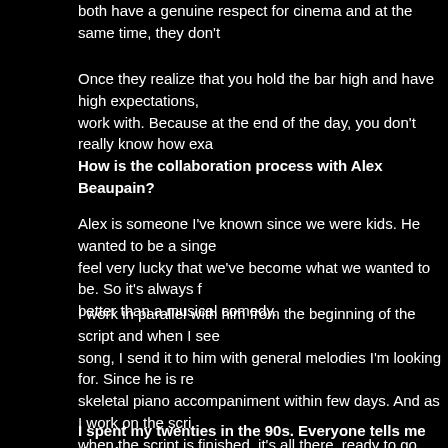both have a genuine respect for cinema and at the same time, they don't
Once they realize that you hold the bar high and have high expectations, work with. Because at the end of the day, you don't really know how exa
How is the collaboration process with Alex Beaupain?
Alex is someone I've known since we were kids. He wanted to be a singe feel very lucky that we've become what we wanted to be. So it's always f better than a musical comedy.
I work in parallel with him from the beginning of the script and when I see song, I send it to him with general melodies I'm looking for. Since he is re skeletal piano accompaniment within few days. And as I work on the scri when the script is finished, it's all there, ready to go.
I spent my twenties in the 90s. Everyone tells me that the 90s were t to know what your take on that decade is.
I don't really agree with that sentiment. Certainly not in America since the there. On the other hand in France, it's clear we were on the decline. Ob leader aesthetically or from an industrial standpoint. I would say Asian ci early 2000s.
When I started making films, there was a general reactionary movement